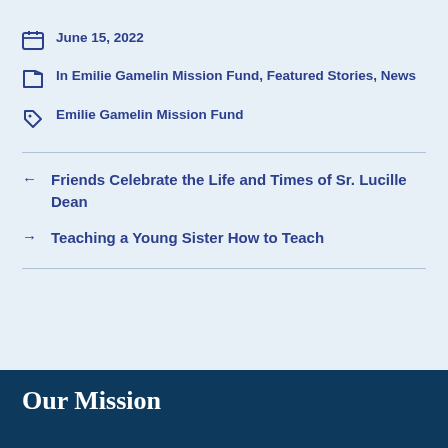June 15, 2022
In Emilie Gamelin Mission Fund, Featured Stories, News
Emilie Gamelin Mission Fund
← Friends Celebrate the Life and Times of Sr. Lucille Dean
→ Teaching a Young Sister How to Teach
Our Mission